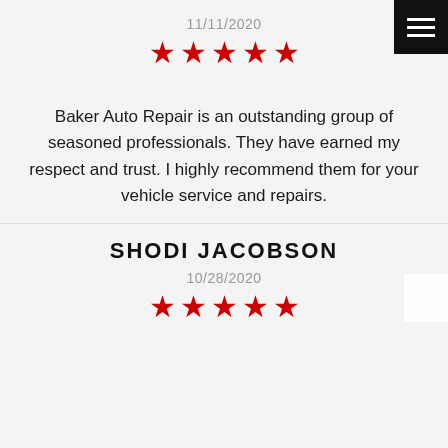11/11/2020
[Figure (other): Five red star rating]
Baker Auto Repair is an outstanding group of seasoned professionals. They have earned my respect and trust. I highly recommend them for your vehicle service and repairs.
SHODI JACOBSON
10/28/2020
[Figure (other): Five red star rating]